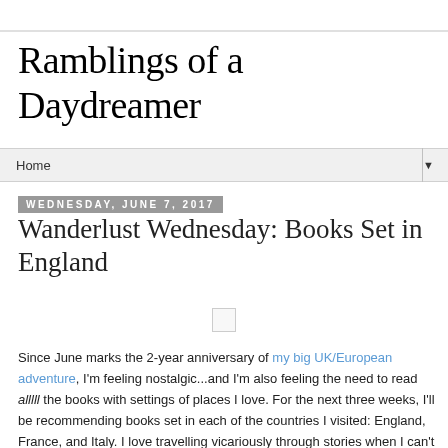Ramblings of a Daydreamer
Home
Wednesday, June 7, 2017
Wanderlust Wednesday: Books Set in England
[Figure (other): Small placeholder image box]
Since June marks the 2-year anniversary of my big UK/European adventure, I'm feeling nostalgic...and I'm also feeling the need to read alllll the books with settings of places I love. For the next three weeks, I'll be recommending books set in each of the countries I visited: England, France, and Italy. I love travelling vicariously through stories when I can't actually travel myself, and I know I'm not the only one, so I hope you'll enjoy these lists!